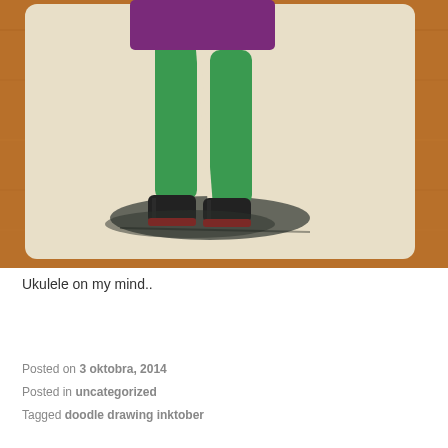[Figure (illustration): A photo of a hand-drawn illustration on cream paper placed on a wooden surface. The drawing shows the lower body of a figure wearing green tights/leggings, a purple top, black ankle boots with red soles, and a shadow beneath the feet drawn in dark ink.]
Ukulele on my mind..
Posted on 3 oktobra, 2014
Posted in uncategorized
Tagged doodle drawing inktober